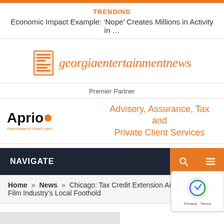TRENDING
Economic Impact Example: ‘Nope’ Creates Millions in Activity in …
[Figure (logo): Georgia Entertainment News logo with newspaper icon and orange italic text]
Premier Partner
[Figure (logo): Aprio logo with orange dot and tagline, alongside orange text: Advisory, Assurance, Tax and Private Client Services]
NAVIGATE
Home » News » Chicago: Tax Credit Extension Aims to Cement Film Industry’s Local Foothold